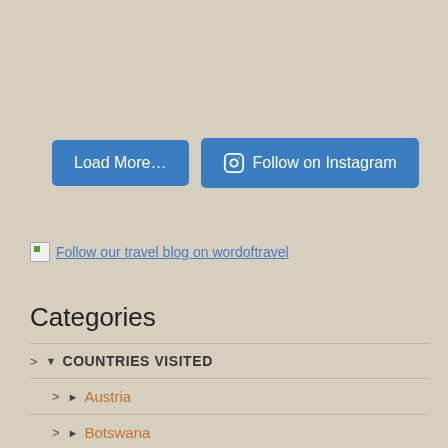[Figure (other): Two buttons: 'Load More...' and 'Follow on Instagram' (with Instagram icon), both in blue]
Follow our travel blog on wordoftravel
Categories
> ▼ COUNTRIES VISITED
> ► Austria
> ► Botswana
> ► Ethiopia
> ► Germany